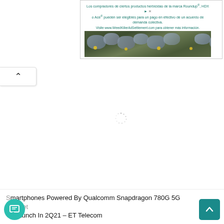[Figure (screenshot): Web advertisement banner in Spanish for Roundup/HDX/Ace herbicide class action settlement. Text reads: 'Los compradores de ciertos productos herbicidas de la marca Roundup®, HDX o Ace® pueden ser elegibles para un pago en efectivo de un acuerdo de demanda colectiva. Visite www.WeedKillerAdSettlement.com para obtener más información.' Below the text is a photo of stone pavers with green grass and yellow flowers growing between them.]
[Figure (screenshot): A back/up navigation arrow button (chevron pointing up) in a white rounded rectangular button on the left side of the page.]
[Figure (screenshot): A loading spinner icon (circular dashed ring) indicating page content is loading.]
Smartphones Powered By Qualcomm Snapdragon 780G 5G Chipset To Launch In 2Q21 – ET Telecom